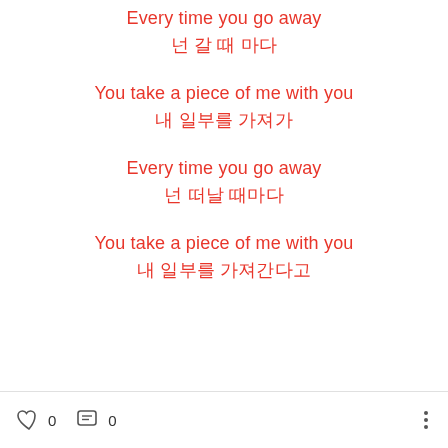Every time you go away
넌 갈 때 마다
You take a piece of me with you
내 일부를 가져가
Every time you go away
넌 떠날 때마다
You take a piece of me with you
내 일부를 가져간다고
0  0